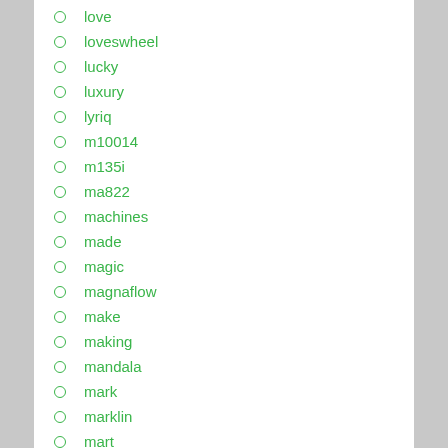love
loveswheel
lucky
luxury
lyriq
m10014
m135i
ma822
machines
made
magic
magnaflow
make
making
mandala
mark
marklin
mart
mary